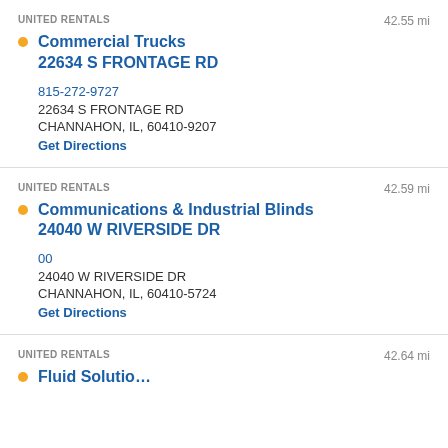UNITED RENTALS
42.55 mi
Commercial Trucks
22634 S FRONTAGE RD
815-272-9727
22634 S FRONTAGE RD
CHANNAHON, IL, 60410-9207
Get Directions
UNITED RENTALS
42.59 mi
Communications & Industrial Blinds
24040 W RIVERSIDE DR
00
24040 W RIVERSIDE DR
CHANNAHON, IL, 60410-5724
Get Directions
UNITED RENTALS
42.64 mi
Fluid Solutio…